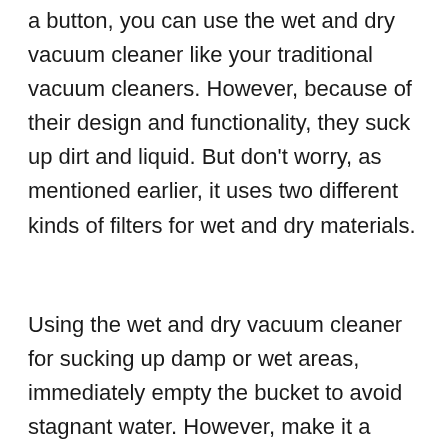a button, you can use the wet and dry vacuum cleaner like your traditional vacuum cleaners. However, because of their design and functionality, they suck up dirt and liquid. But don't worry, as mentioned earlier, it uses two different kinds of filters for wet and dry materials.
Using the wet and dry vacuum cleaner for sucking up damp or wet areas, immediately empty the bucket to avoid stagnant water. However, make it a habit of emptying both